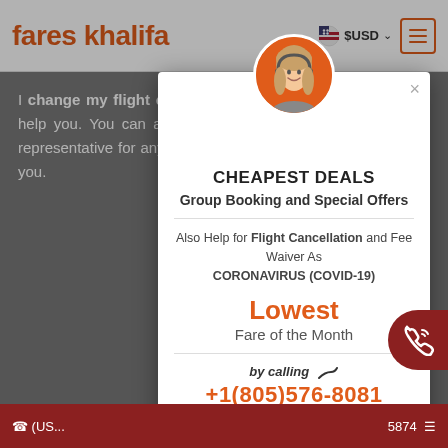[Figure (screenshot): FaresKhalifa website header with logo, USD currency selector, and hamburger menu]
I change my flight on Saudi Airlines, the above points will help you. You can also talk to the Saudi Airlines customer representative for any assistance. They are available 24/7 for you.
[Figure (infographic): Popup modal with customer service agent avatar, showing CHEAPEST DEALS - Group Booking and Special Offers, help for Flight Cancellation and Fee Waiver As CORONAVIRUS (COVID-19), Lowest Fare of the Month, by calling +1(805)576-8081, 24*7 Unlimited Support]
(US... 5874